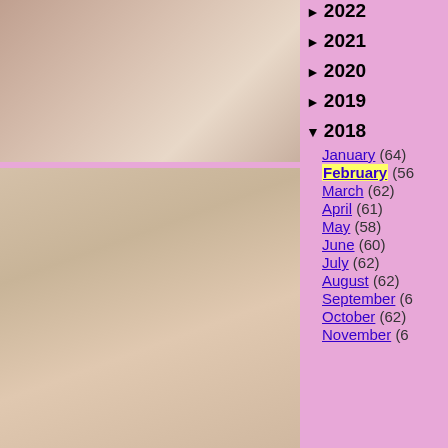[Figure (photo): Two people on a bed with white bedding]
[Figure (photo): Young woman with dark pigtails holding an orange object, wearing pink]
► 2022
► 2021
► 2020
► 2019
▼ 2018
January (64)
February (56)
March (62)
April (61)
May (58)
June (60)
July (62)
August (62)
September (6...)
October (62)
November (6...)